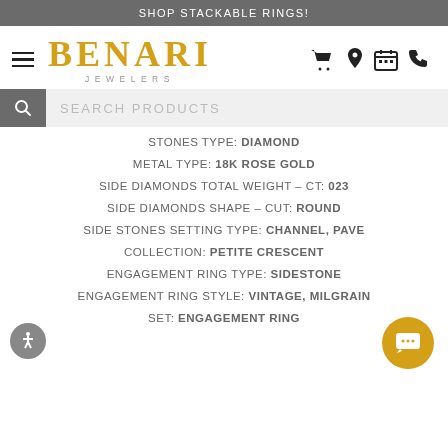SHOP STACKABLE RINGS!
[Figure (logo): Benari Jewelers logo with hamburger menu and header icons (cart, location, calendar, phone)]
SEARCH PRODUCTS
STONES TYPE: DIAMOND
METAL TYPE: 18K ROSE GOLD
SIDE DIAMONDS TOTAL WEIGHT – CT: 023
SIDE DIAMONDS SHAPE – CUT: ROUND
SIDE STONES SETTING TYPE: CHANNEL, PAVE
COLLECTION: PETITE CRESCENT
ENGAGEMENT RING TYPE: SIDESTONE
ENGAGEMENT RING STYLE: VINTAGE, MILGRAIN
SET: ENGAGEMENT RING